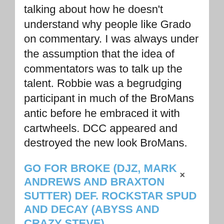talking about how he doesn't understand why people like Grado on commentary. I was always under the assumption that the idea of commentators was to talk up the talent. Robbie was a begrudging participant in much of the BroMans antic before he embraced it with cartwheels. DCC appeared and destroyed the new look BroMans.
GO FOR BROKE (DJZ, MARK ANDREWS AND BRAXTON SUTTER) DEF. ROCKSTAR SPUD AND DECAY (ABYSS AND CRAZY STEVE)
This is a Team X Gold match. Team X Gold